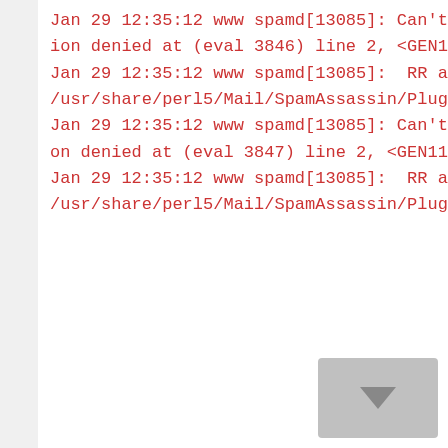Jan 29 12:35:12 www spamd[13085]: Can't locate Net/DNS/RR/NS.pm: Permission denied at (eval 3846) line 2, <GEN1138> line 653.
Jan 29 12:35:12 www spamd[13085]:  RR at octet 41 corrupt/incomplete at /usr/share/perl5/Mail/SpamAssassin/Plugin/URIDM line 931.
Jan 29 12:35:12 www spamd[13085]: Can't locate Net/DNS/RR/A.pm: Permission denied at (eval 3847) line 2, <GEN1138> line 653.
Jan 29 12:35:12 www spamd[13085]:  RR at octet 41 corrupt/incomplete at /usr/share/perl5/Mail/SpamAssassin/Plugin/URIDM line 1016.